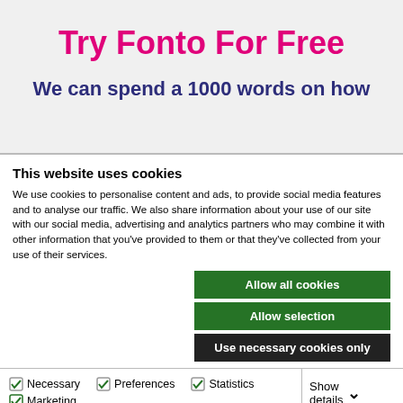Try Fonto For Free
We can spend a 1000 words on how
This website uses cookies
We use cookies to personalise content and ads, to provide social media features and to analyse our traffic. We also share information about your use of our site with our social media, advertising and analytics partners who may combine it with other information that you've provided to them or that they've collected from your use of their services.
Allow all cookies
Allow selection
Use necessary cookies only
Necessary   Preferences   Statistics   Marketing   Show details